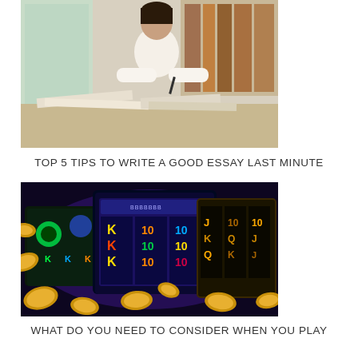[Figure (photo): Young man studying at a desk with books open, writing in a library setting]
TOP 5 TIPS TO WRITE A GOOD ESSAY LAST MINUTE
[Figure (photo): Online casino slot machines with coins, colorful gaming screens showing cards and slot symbols]
WHAT DO YOU NEED TO CONSIDER WHEN YOU PLAY